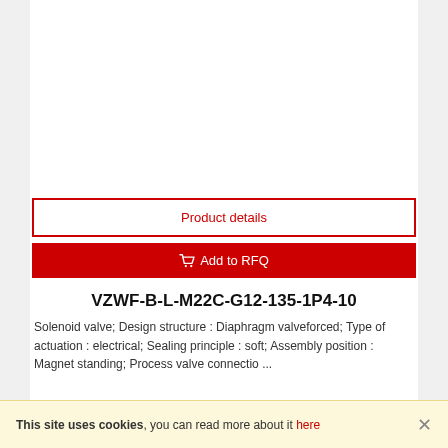[Figure (other): Product image area (blank/white)]
Product details
Add to RFQ
VZWF-B-L-M22C-G12-135-1P4-10
Solenoid valve; Design structure : Diaphragm valveforced; Type of actuation : electrical; Sealing principle : soft; Assembly position : Magnet standing; Process valve connectio ...
This site uses cookies, you can read more about it here